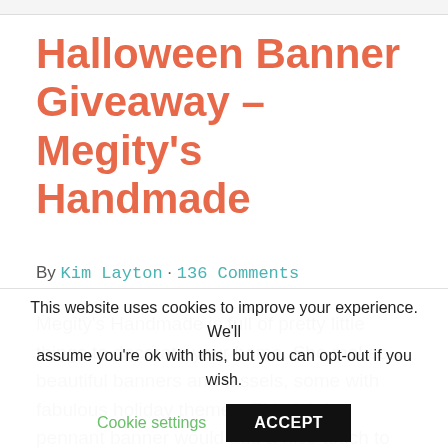Halloween Banner Giveaway – Megity's Handmade
By Kim Layton · 136 Comments
Megity's Handmade is full of pretty little things to decorate your home. She makes beautiful banners and tassels, some with fabulous holiday themes. This fabric pennant banner would add a nice touch to your Halloween
This website uses cookies to improve your experience. We'll assume you're ok with this, but you can opt-out if you wish. Cookie settings ACCEPT